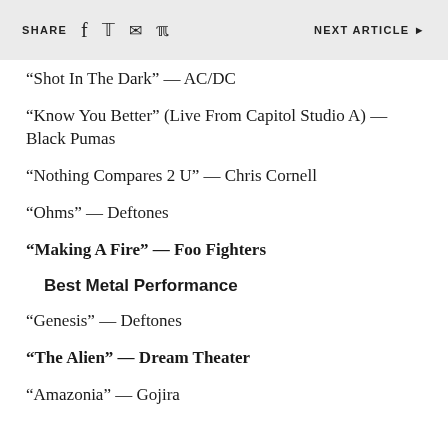SHARE | NEXT ARTICLE ▶
“Shot In The Dark” — AC/DC
“Know You Better” (Live From Capitol Studio A) — Black Pumas
“Nothing Compares 2 U” — Chris Cornell
“Ohms” — Deftones
“Making A Fire” — Foo Fighters
Best Metal Performance
“Genesis” — Deftones
“The Alien” — Dream Theater
“Amazonia” — Gojira